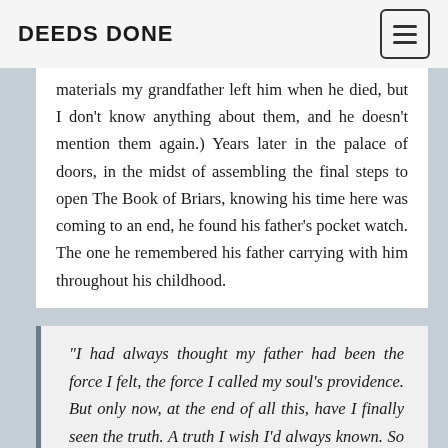DEEDS DONE
materials  my grandfather left him when he died, but I don't know anything about them, and he doesn't mention them again.) Years later in the palace of doors, in the midst of assembling the final steps to open The Book of Briars, knowing his time here was coming to an end, he found his father's pocket watch. The one he remembered his father carrying with him throughout his childhood.
“I had always thought my father had been the force I felt, the force I called my soul’s providence. But only now, at the end of all this, have I finally seen the truth. A truth I wish I’d always known. So I want to tell you